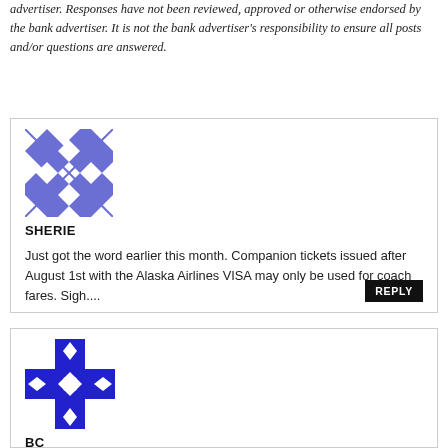advertiser. Responses have not been reviewed, approved or otherwise endorsed by the bank advertiser. It is not the bank advertiser's responsibility to ensure all posts and/or questions are answered.
[Figure (illustration): Blue and white geometric quilt-pattern avatar for user SHERIE]
SHERIE
Just got the word earlier this month. Companion tickets issued after August 1st with the Alaska Airlines VISA may only be used for coach fares. Sigh....
REPLY
[Figure (illustration): Blue and white cross-shaped geometric diamond-pattern avatar for user BC]
BC